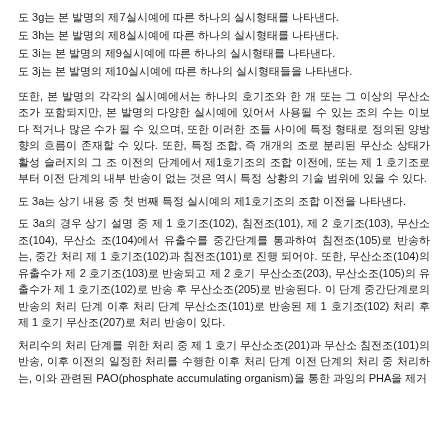도 3g는 본 발명의 제7실시예에 따른 하나의 실시형태를 나타낸다.
도 3h는 본 발명의 제8실시예에 따른 하나의 실시형태를 나타낸다.
도 3i는 본 발명의 제9실시예에 따른 하나의 실시형태를 나타낸다.
도 3j는 본 발명의 제10실시예에 따른 하나의 실시형태들을 나타낸다.
또한, 본 발명의 각각의 실시예에서는 하나의 호기조와 한 개 또는 그 이상의 무산소조가 포함되지만, 본 발명의 다양한 실시예에 있어서 사용될 수 있는 조의 수는 이보다 적거나 많은 수가 될 수 있으며, 또한 이러한 조들 사이에 특정 형태로 정의된 양방향의 흐름이 존재할 수 있다. 또한, 특정 조합, 즉 개개의 조로 분리된 무산소 상태가 활성 슬러지의 그 조 이전의 단계에서 제1호기조의 조합 이전에, 또는 제 1 호기조로부터 이전 단계의 내부 반송이 없는 것은 역시 특정 상황의 기술 범위에 있을 수 있다.
도 3a는 상기 내용 중 첫 번째 특정 실시예의 제1호기조의 조합 이전을 나타낸다.
도 3a의 경우 상기 설명 중 제 1 호기조(102), 침전조(101), 제 2 호기조(103), 무산소조(104), 무산소 조(104)에서 유출수를 중간단계를 통과하여 침전조(105)로 반송하는, 중간 처리 제 1 호기조(102)과 침전조(101)로 진행 되어야. 또한, 무산소조(104)의 유출수가 제 2 호기조(103)로 반송되고 제 2 호기 무산소조(203), 무산소조(105)의 유출수가 제 1 호기조(102)로 반송 후 무산소조(205)로 반송된다. 이 단계 중간단계로의반송의 처리 단계 이후 처리 단계 무산소조(101)로 반송된 제 1 호기조(102) 처리 후 제 1 호기 무산조(207)로 처리 반송이 있다.
처리수의 처리 단계를 위한 처리 중 제 1 호기 무산소조(201)과 무산소 침전조(101)의 반송, 이후 이전의 일정한 처리를 수행한 이후 처리 단계 이전 단계의 처리 중 처리하는, 이와 관련된 PAO(phosphate accumulating organism)을 통한 과잉의 PHA을 제거